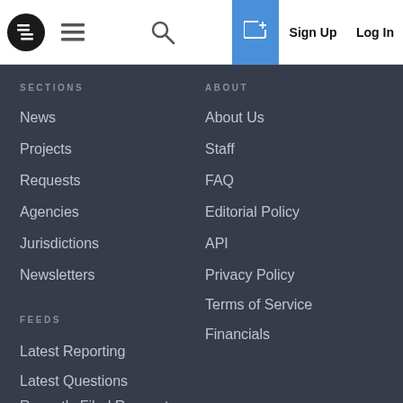Navigation bar with logo, hamburger menu, search, plus icon, Sign Up, Log In
SECTIONS
News
Projects
Requests
Agencies
Jurisdictions
Newsletters
ABOUT
About Us
Staff
FAQ
Editorial Policy
API
Privacy Policy
Terms of Service
Financials
FEEDS
Latest Reporting
Latest Questions
Recently Filed Requests